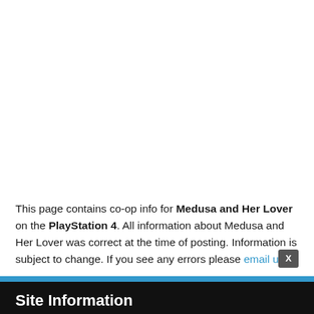This page contains co-op info for Medusa and Her Lover on the PlayStation 4. All information about Medusa and Her Lover was correct at the time of posting. Information is subject to change. If you see any errors please email us.
Site Information